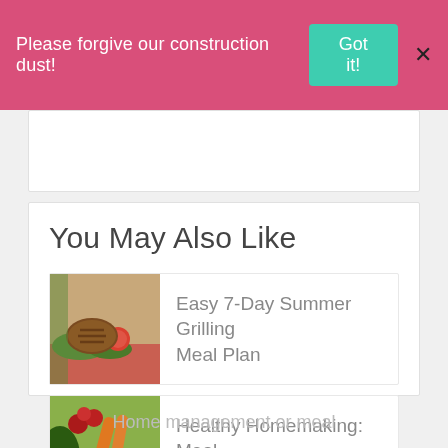Please forgive our construction dust!  Got it!  X
You May Also Like
[Figure (photo): A grilled burger or meat patty served on a plate with tomatoes and greens]
Easy 7-Day Summer Grilling Meal Plan
[Figure (photo): A bowl or arrangement of fresh vegetables including carrots, greens, corn, mushrooms and cherries/tomatoes]
Healthy Homemaking: Meal Planning Primer
Home management or meal